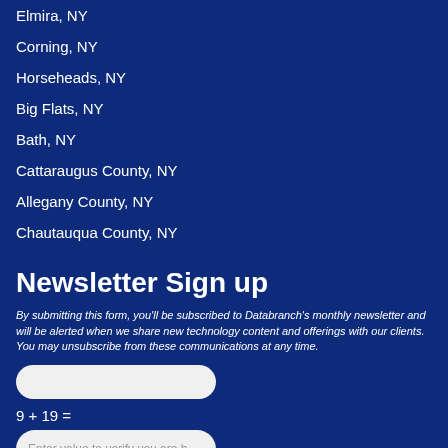Elmira, NY
Corning, NY
Horseheads, NY
Big Flats, NY
Bath, NY
Cattaraugus County, NY
Allegany County, NY
Chautauqua County, NY
Newsletter Sign up
By submitting this form, you'll be subscribed to Databranch's monthly newsletter and will be alerted when we share new technology content and offerings with our clients. You may unsubscribe from these communications at any time.
9 + 19 =
Enter value to verify you are human
Submit
Connect With Us